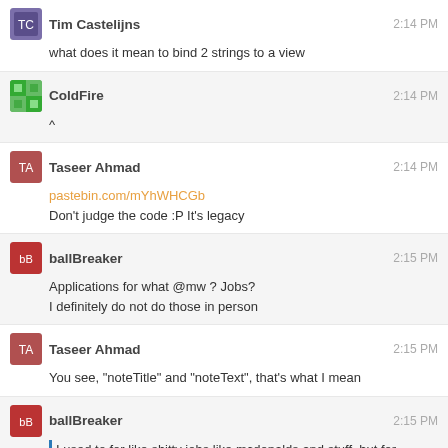Tim Castelijns 2:14 PM
what does it mean to bind 2 strings to a view
ColdFire 2:14 PM
^
Taseer Ahmad 2:14 PM
pastebin.com/mYhWHCGb
Don't judge the code :P It's legacy
ballBreaker 2:15 PM
Applications for what @mw ? Jobs?
I definitely do not do those in person
Taseer Ahmad 2:15 PM
You see, "noteTitle" and "noteText", that's what I mean
ballBreaker 2:15 PM
I used to for like shitty jobs like mcdonalds and stuff, but for corporations I don't
Taseer Ahmad 2:18 PM
Should I create separate classes for each view binding?
Legacy code: Exists
SRP: Am I a joke to you?
Tim Castelijns 2:19 PM